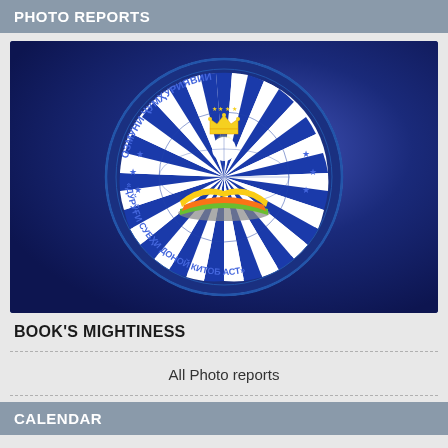PHOTO REPORTS
[Figure (logo): Circular emblem/logo with Tajik text reading 'ОЗМУНИ ҶУМҲУРИЯВИИ' at top and '«ДЎРЎҒИ СУБҲИ ДОНОЙ КИТОБ АСТ»' at bottom, featuring an open colorful book with radiating blue and white rays, stars, and a crown symbol. Set against a dark blue background.]
BOOK'S MIGHTINESS
All Photo reports
CALENDAR